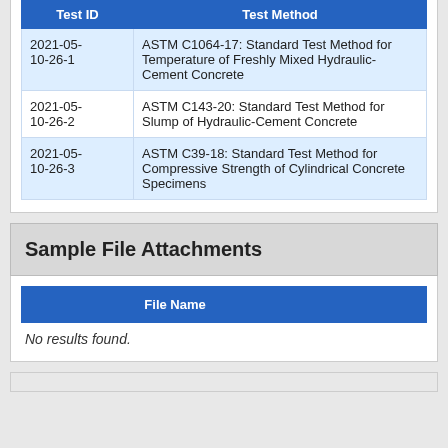| Test ID | Test Method |
| --- | --- |
| 2021-05-10-26-1 | ASTM C1064-17: Standard Test Method for Temperature of Freshly Mixed Hydraulic-Cement Concrete |
| 2021-05-10-26-2 | ASTM C143-20: Standard Test Method for Slump of Hydraulic-Cement Concrete |
| 2021-05-10-26-3 | ASTM C39-18: Standard Test Method for Compressive Strength of Cylindrical Concrete Specimens |
Sample File Attachments
| File Name |  |
| --- | --- |
No results found.